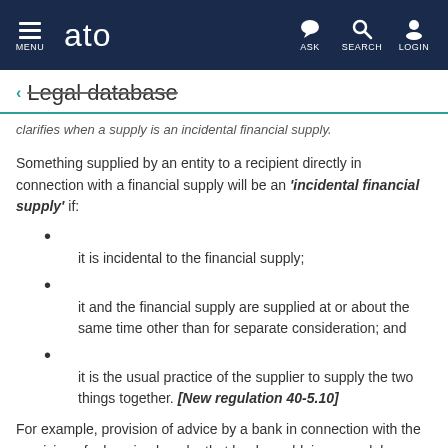MENU | ato | ASK | SEARCH | LOGIN
← Legal database
clarifies when a supply is an incidental financial supply.
Something supplied by an entity to a recipient directly in connection with a financial supply will be an 'incidental financial supply' if:
it is incidental to the financial supply;
it and the financial supply are supplied at or about the same time other than for separate consideration; and
it is the usual practice of the supplier to supply the two things together. [New regulation 40-5.10]
For example, provision of advice by a bank in connection with the provision of a housing loan by that bank would, in general, be